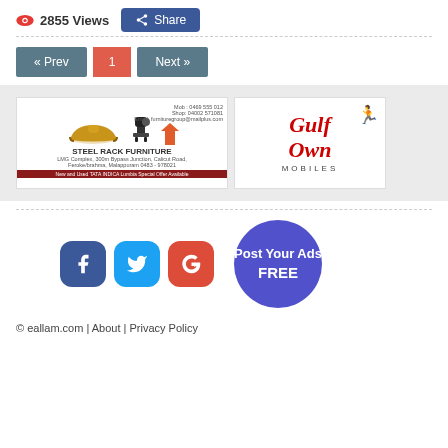2855 Views
Share
[Figure (infographic): Steel Rack Furniture advertisement banner with sofa and chair images]
[Figure (logo): Gulf Own Mobiles logo in red italic serif font with small figure icon]
[Figure (infographic): Social media share buttons: Facebook, Twitter, Google Plus icons, and Post Your Ads FREE circle button]
© eallam.com | About | Privacy Policy